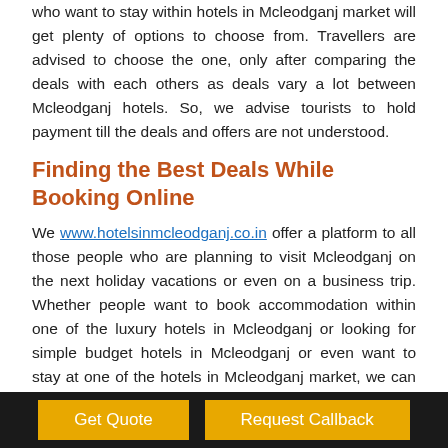who want to stay within hotels in Mcleodganj market will get plenty of options to choose from. Travellers are advised to choose the one, only after comparing the deals with each others as deals vary a lot between Mcleodganj hotels. So, we advise tourists to hold payment till the deals and offers are not understood.
Finding the Best Deals While Booking Online
We www.hotelsinmcleodganj.co.in offer a platform to all those people who are planning to visit Mcleodganj on the next holiday vacations or even on a business trip. Whether people want to book accommodation within one of the luxury hotels in Mcleodganj or looking for simple budget hotels in Mcleodganj or even want to stay at one of the hotels in Mcleodganj market, we can surely assist them in searching the most suitable hotel in accordance to their budget. Our portal offers an option to filter searches according to the need and complete info of hotels in Mcleodganj with tariff details. Start hotel search straight away.
Get Quote | Request Callback